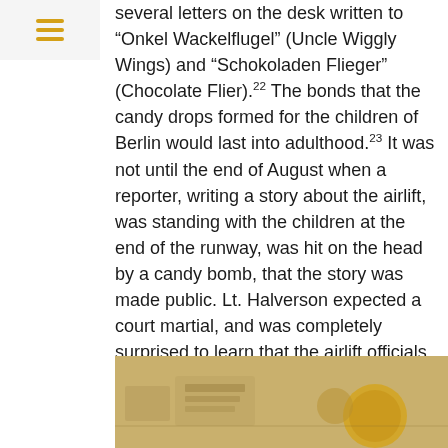menu icon
several letters on the desk written to “Onkel Wackelflugel” (Uncle Wiggly Wings) and “Schokoladen Flieger” (Chocolate Flier).22 The bonds that the candy drops formed for the children of Berlin would last into adulthood.23 It was not until the end of August when a reporter, writing a story about the airlift, was standing with the children at the end of the runway, was hit on the head by a candy bomb, that the story was made public. Lt. Halverson expected a court martial, and was completely surprised to learn that the airlift officials encouraged him to continue his drops. Turner knew that these candy drops were a powerful symbol in the war for the people of Berlin, and he immediately put Lt. Halverson in front of the press to promote his candy bombing.24
[Figure (photo): Partial view of a historical photograph with warm tan/brown tones, showing what appears to be documents or objects on a surface.]